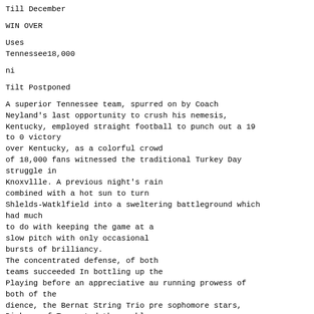Till December
WIN OVER
Uses
Tennessee18,000
ni
Tilt Postponed
A superior Tennessee team, spurred on by Coach Neyland's last opportunity to crush his nemesis, Kentucky, employed straight football to punch out a 19 to 0 victory
over Kentucky, as a colorful crowd
of 18,000 fans witnessed the traditional Turkey Day struggle in
Knoxvllle. A previous night's rain
combined with a hot sun to turn
Shlelds-Watklfield into a sweltering battleground which had much
to do with keeping the game at a
slow pitch with only occasional
bursts of brilliancy.
The concentrated defense, of both
teams succeeded In bottling up the
Playing before an appreciative au running prowess of both of the
dience, the Bernat String Trio pre sophomore stars,
Dickens of Tencented the weekly vesper program passes